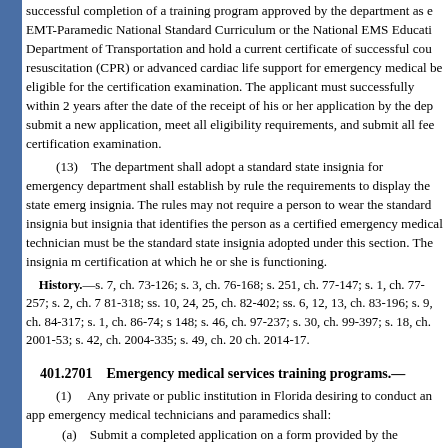successful completion of a training program approved by the department as e EMT-Paramedic National Standard Curriculum or the National EMS Education Department of Transportation and hold a current certificate of successful cou resuscitation (CPR) or advanced cardiac life support for emergency medical be eligible for the certification examination. The applicant must successfully within 2 years after the date of the receipt of his or her application by the dep submit a new application, meet all eligibility requirements, and submit all fee certification examination.
(13) The department shall adopt a standard state insignia for emergency department shall establish by rule the requirements to display the state emerg insignia. The rules may not require a person to wear the standard insignia but insignia that identifies the person as a certified emergency medical technician must be the standard state insignia adopted under this section. The insignia m certification at which he or she is functioning.
History.—s. 7, ch. 73-126; s. 3, ch. 76-168; s. 251, ch. 77-147; s. 1, ch. 77-257; s. 2, ch. 7 81-318; ss. 10, 24, 25, ch. 82-402; ss. 6, 12, 13, ch. 83-196; s. 9, ch. 84-317; s. 1, ch. 86-74; s 148; s. 46, ch. 97-237; s. 30, ch. 99-397; s. 18, ch. 2001-53; s. 42, ch. 2004-335; s. 49, ch. 20 ch. 2014-17.
401.2701 Emergency medical services training programs.—
(1) Any private or public institution in Florida desiring to conduct an app emergency medical technicians and paramedics shall:
(a) Submit a completed application on a form provided by the departmen